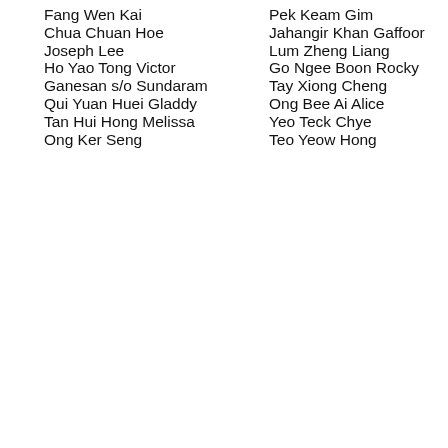Fang Wen Kai
Pek Keam Gim
Chua Chuan Hoe
Jahangir Khan Gaffoor
Joseph Lee
Lum Zheng Liang
Ho Yao Tong Victor
Go Ngee Boon Rocky
Ganesan s/o Sundaram
Tay Xiong Cheng
Qui Yuan Huei Gladdy
Ong Bee Ai Alice
Tan Hui Hong Melissa
Yeo Teck Chye
Ong Ker Seng
Teo Yeow Hong